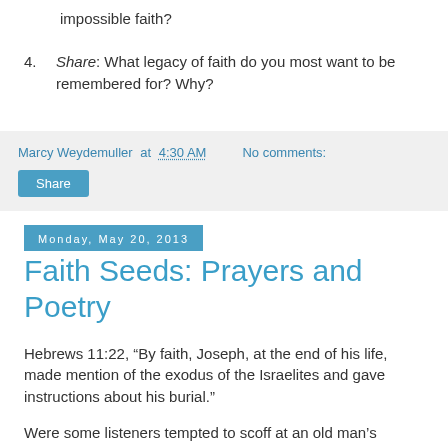impossible faith?
Share: What legacy of faith do you most want to be remembered for? Why?
Marcy Weydemuller at 4:30 AM   No comments:
Share
Monday, May 20, 2013
Faith Seeds: Prayers and Poetry
Hebrews 11:22, “By faith, Joseph, at the end of his life, made mention of the exodus of the Israelites and gave instructions about his burial.”
Were some listeners tempted to scoff at an old man’s